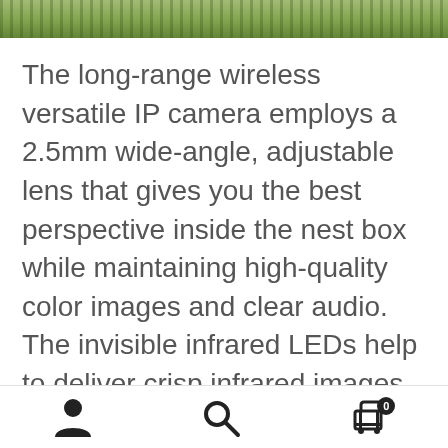[Figure (photo): Outdoor scene with green field/grass and fence posts, cropped strip at top of page]
The long-range wireless versatile IP camera employs a 2.5mm wide-angle, adjustable lens that gives you the best perspective inside the nest box while maintaining high-quality color images and clear audio. The invisible infrared LEDs help to deliver crisp infrared images at night without giving off glaring red lights. Real-time videos can be accessed anytime and anywhere with an Internet connection. Motion detection is available at every trigger event with instant
[Figure (infographic): Bottom navigation bar with user/account icon, search icon, and shopping cart icon with badge showing 0]